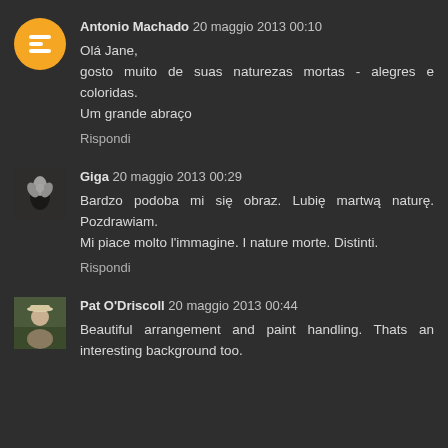Antonio Machado 20 maggio 2013 00:10
Olá Jane,
gosto muito de suas naturezas mortas - alegres e coloridas.
Um grande abraço
Rispondi
Giga 20 maggio 2013 00:29
Bardzo podoba mi się obraz. Lubię martwą naturę. Pozdrawiam.
Mi piace molto l'immagine. I nature morte. Distinti.
Rispondi
Pat O'Driscoll 20 maggio 2013 00:44
Beautiful arrangement and paint handling. Thats an interesting background too.